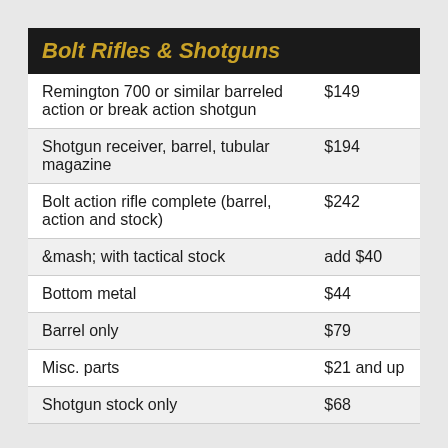| Item | Price |
| --- | --- |
| Remington 700 or similar barreled action or break action shotgun | $149 |
| Shotgun receiver, barrel, tubular magazine | $194 |
| Bolt action rifle complete (barrel, action and stock) | $242 |
| &mash; with tactical stock | add $40 |
| Bottom metal | $44 |
| Barrel only | $79 |
| Misc. parts | $21 and up |
| Shotgun stock only | $68 |